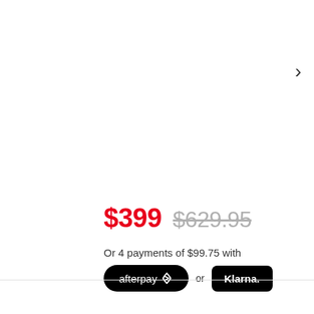[Figure (other): Navigation chevron arrow pointing right]
$399  $629.95
Or 4 payments of $99.75 with
[Figure (logo): Afterpay logo button (black pill-shaped) and Klarna logo button (black rounded rectangle) with 'or' text between them]